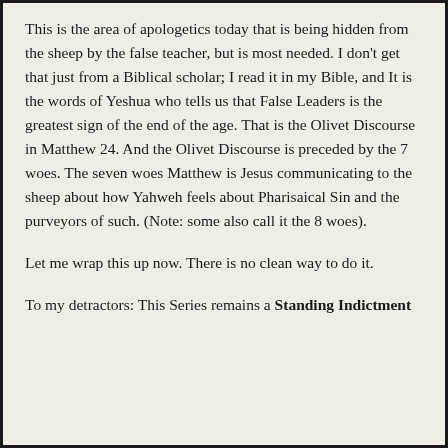This is the area of apologetics today that is being hidden from the sheep by the false teacher, but is most needed. I don't get that just from a Biblical scholar; I read it in my Bible, and It is the words of Yeshua who tells us that False Leaders is the greatest sign of the end of the age. That is the Olivet Discourse in Matthew 24. And the Olivet Discourse is preceded by the 7 woes. The seven woes Matthew is Jesus communicating to the sheep about how Yahweh feels about Pharisaical Sin and the purveyors of such. (Note: some also call it the 8 woes).
Let me wrap this up now. There is no clean way to do it.
To my detractors: This Series remains a Standing Indictment